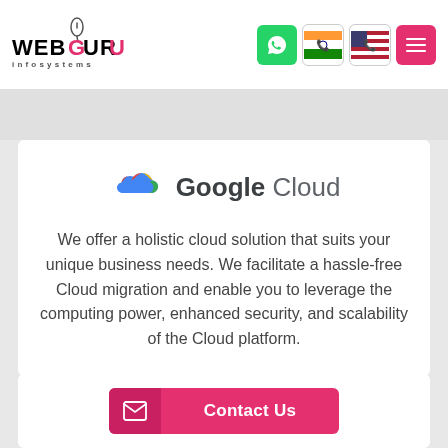[Figure (logo): WebGuru Infosystems logo with stylized text and mouse icon]
[Figure (infographic): Navigation bar icons: WhatsApp green button, India flag phone button, USA flag phone button, pink hamburger menu button]
[Figure (logo): Google Cloud logo with colorful cloud icon and text]
We offer a holistic cloud solution that suits your unique business needs. We facilitate a hassle-free Cloud migration and enable you to leverage the computing power, enhanced security, and scalability of the Cloud platform.
[Figure (infographic): Contact Us button with envelope icon on pink/magenta background]